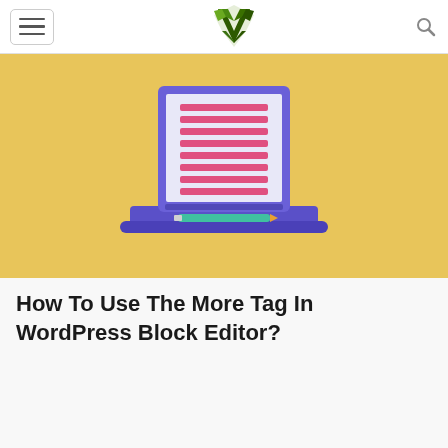[Navigation header with hamburger menu, logo, and search icon]
[Figure (illustration): Illustration of a laptop computer with a document showing pink horizontal lines on screen, set against a golden/yellow background]
How To Use The More Tag In WordPress Block Editor?